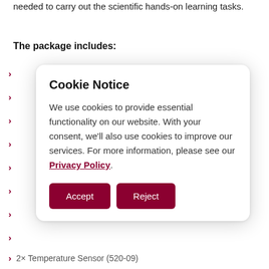needed to carry out the scientific hands-on learning tasks.
The package includes:
Cookie Notice

We use cookies to provide essential functionality on our website. With your consent, we'll also use cookies to improve our services. For more information, please see our Privacy Policy.

[Accept] [Reject]
2× Temperature Sensor (520-09)